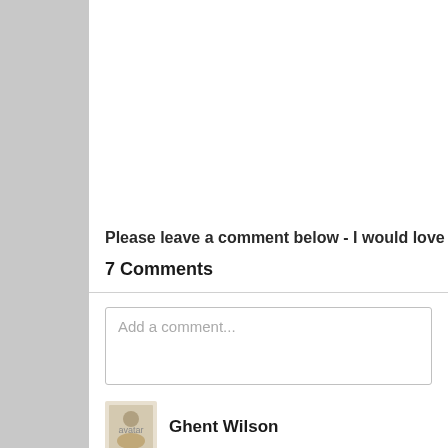Please leave a comment below - I would love to he
7 Comments
Add a comment...
Ghent Wilson